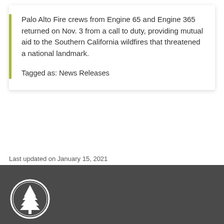Palo Alto Fire crews from Engine 65 and Engine 365 returned on Nov. 3 from a call to duty, providing mutual aid to the Southern California wildfires that threatened a national landmark.
Tagged as: News Releases
Last updated on January 15, 2021
[Figure (logo): Circular logo with a tree (pine/redwood) silhouette in white on dark background, city of Palo Alto emblem]